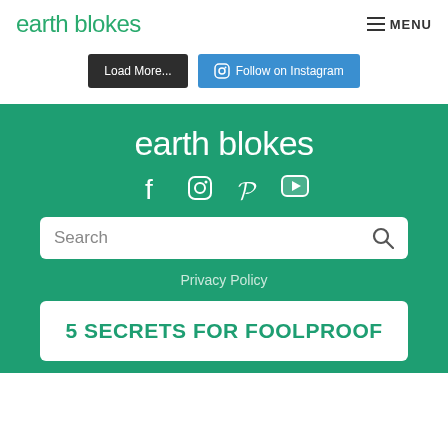earth blokes | MENU
Load More... | Follow on Instagram
earth blokes
[Figure (infographic): Social media icons: Facebook, Instagram, Pinterest, YouTube]
Search
Privacy Policy
5 SECRETS FOR FOOLPROOF